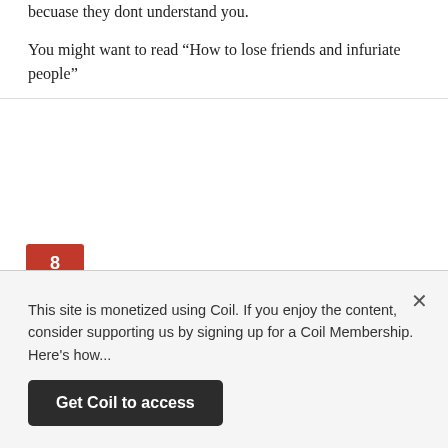becuase they dont understand you.
You might want to read “How to lose friends and infuriate people”
8
cazazz
August 4, 2010 at 12:48 am
Excellent article. After many years in the design field I have learnt to say no, because I want to provide the best solution (which may not always be what the client asked for). The client will always thank you in the end, but it does mean you have to have the courage of your
This site is monetized using Coil. If you enjoy the content, consider supporting us by signing up for a Coil Membership. Here's how...
Get Coil to access